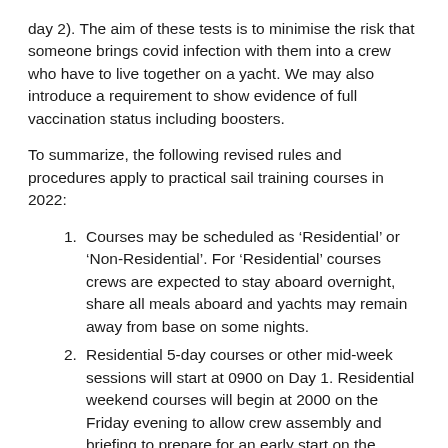day 2).  The aim of these tests is to minimise the risk that someone brings covid infection with them into a crew who have to live together on a yacht.  We may also introduce a requirement to show evidence of full vaccination status including boosters.
To summarize, the following revised rules and procedures apply to practical sail training courses in 2022:
Courses may be scheduled as ‘Residential’ or ‘Non-Residential’.  For ‘Residential’ courses crews are expected to stay aboard overnight, share all meals aboard and yachts may remain away from base on some nights.
Residential 5-day courses or other mid-week sessions will start at 0900 on Day 1.  Residential weekend courses will begin at 2000 on the Friday evening to allow crew assembly and briefing to prepare for an early start on the Saturday morning.